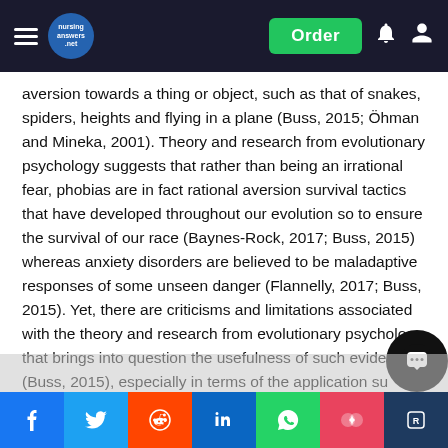NursingAnswers.net navigation bar with Order button
aversion towards a thing or object, such as that of snakes, spiders, heights and flying in a plane (Buss, 2015; Öhman and Mineka, 2001). Theory and research from evolutionary psychology suggests that rather than being an irrational fear, phobias are in fact rational aversion survival tactics that have developed throughout our evolution so to ensure the survival of our race (Baynes-Rock, 2017; Buss, 2015) whereas anxiety disorders are believed to be maladaptive responses of some unseen danger (Flannelly, 2017; Buss, 2015). Yet, there are criticisms and limitations associated with the theory and research from evolutionary psychology that brings into question the usefulness of such evidence (Buss, 2015), especially in terms of the application such knowledge can have on informing the treatment of mental health problems like that of anxiety disorders (Beck, Emery and Greenberg, 1985). Therefore, this following essay will critically discuss the evolution of phobias and anxiety...